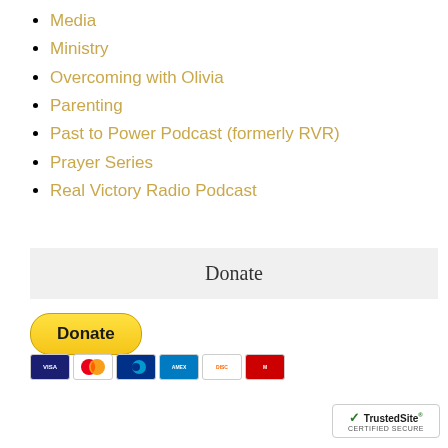Media
Ministry
Overcoming with Olivia
Parenting
Past to Power Podcast (formerly RVR)
Prayer Series
Real Victory Radio Podcast
Donate
[Figure (other): PayPal Donate button with payment card icons (Visa, Mastercard, Maestro, American Express, Discover, and one more)]
[Figure (logo): TrustedSite CERTIFIED SECURE badge with green checkmark]